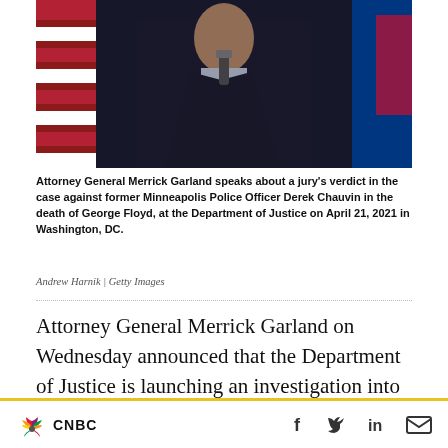[Figure (photo): Attorney General Merrick Garland speaking at a podium with microphones, wearing a dark suit and red tie, with American and other flags in the background.]
Attorney General Merrick Garland speaks about a jury's verdict in the case against former Minneapolis Police Officer Derek Chauvin in the death of George Floyd, at the Department of Justice on April 21, 2021 in Washington, DC.
Andrew Harnik | Getty Images
Attorney General Merrick Garland on Wednesday announced that the Department of Justice is launching an investigation into the practices of the Minneapolis Police Department.
“The investigation I am announcing today will
CNBC  [social icons: Facebook, Twitter, LinkedIn, Email]